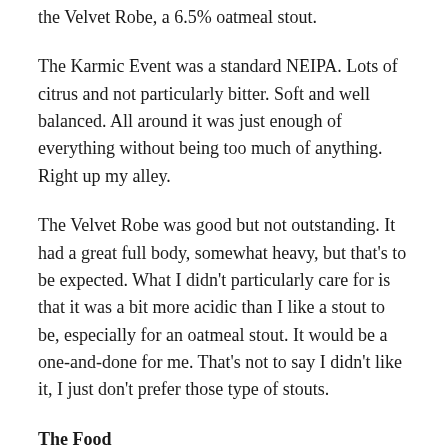the Velvet Robe, a 6.5% oatmeal stout.
The Karmic Event was a standard NEIPA. Lots of citrus and not particularly bitter. Soft and well balanced. All around it was just enough of everything without being too much of anything. Right up my alley.
The Velvet Robe was good but not outstanding. It had a great full body, somewhat heavy, but that's to be expected. What I didn't particularly care for is that it was a bit more acidic than I like a stout to be, especially for an oatmeal stout. It would be a one-and-done for me. That's not to say I didn't like it, I just don't prefer those type of stouts.
The Food
Just after ordering our drinks, we also ordered a pizza from Rad Pies. Cushwa partnered with Rad Pies to offer up some crazy sounding but incredibly delicious food (mostly pizza, but also a few subs and salads) for the brewery patrons or for takeout.
Rad Pies is on the left side of the brewery, and has a large, really...